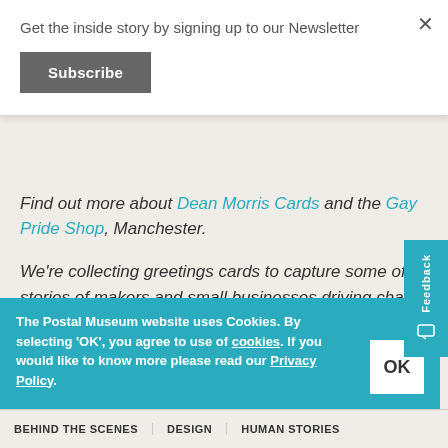Get the inside story by signing up to our Newsletter
Subscribe
Find out more about Dean Morris Cards and the Gay Pride Shop, Manchester.
We're collecting greetings cards to capture some of the stories of makers and small businesses driving change. Over the coming months, we'll be sharing more interviews here on our blog about the importance of diverse representation in greetings card design.
The Postal Museum website uses Cookies. By selecting 'OK', you agree to use of cookies. If you would like to know more please read our Privacy Policy.
BEHIND THE SCENES   DESIGN   HUMAN STORIES